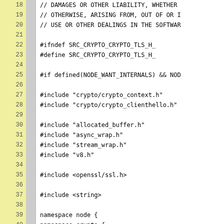Source code listing showing lines 18-44 of a C++ header file (crypto_tls.h). Lines include license comment continuation, include guards, preprocessor conditionals, include directives for crypto headers, standard library includes, and beginning of class declaration for TLSWrap.